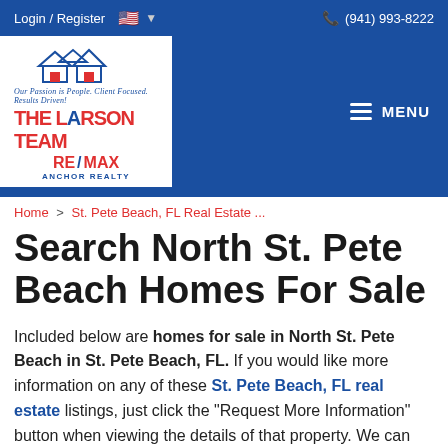Login / Register   (941) 993-8222
[Figure (logo): The Larson Team RE/MAX Anchor Realty logo with house illustration]
Home > St. Pete Beach, FL Real Estate ...
Search North St. Pete Beach Homes For Sale
Included below are homes for sale in North St. Pete Beach in St. Pete Beach, FL. If you would like more information on any of these St. Pete Beach, FL real estate listings, just click the "Request More Information" button when viewing the details of that property. We can provide you with disclosures, past